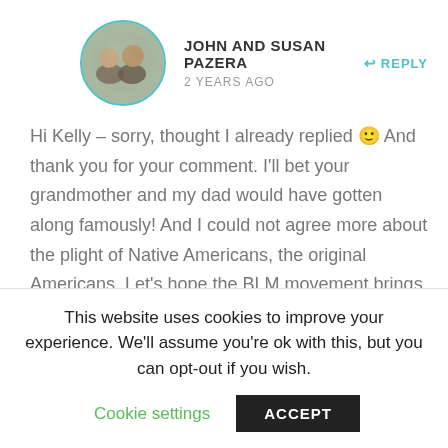[Figure (photo): Circular avatar photo of John and Susan Pazera, a couple smiling together]
JOHN AND SUSAN PAZERA
2 YEARS AGO
REPLY
Hi Kelly – sorry, thought I already replied 🙂 And thank you for your comment. I'll bet your grandmother and my dad would have gotten along famously! And I could not agree more about the plight of Native Americans, the original Americans. Let's hope the BLM movement brings greater equality to all marginalized groups,
This website uses cookies to improve your experience. We'll assume you're ok with this, but you can opt-out if you wish.
Cookie settings
ACCEPT